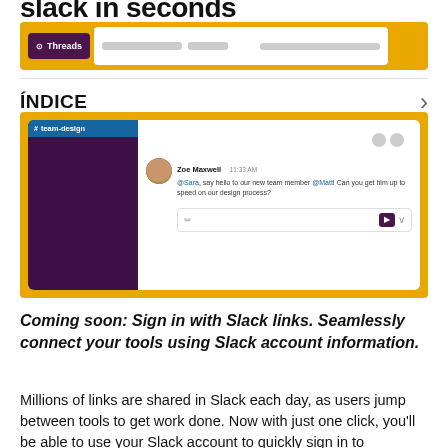slack in seconds
[Figure (screenshot): Slack UI strip showing Threads sidebar element with gold background accents]
ÍNDICE
[Figure (screenshot): Slack chat window showing #team-design channel with Zoe Maxwell message: @Sara, say hello to our new team member @Matt! Can you get him up to speed on our design process?]
Coming soon: Sign in with Slack links. Seamlessly connect your tools using Slack account information.
Millions of links are shared in Slack each day, as users jump between tools to get work done. Now with just one click, you'll be able to use your Slack account to quickly sign in to